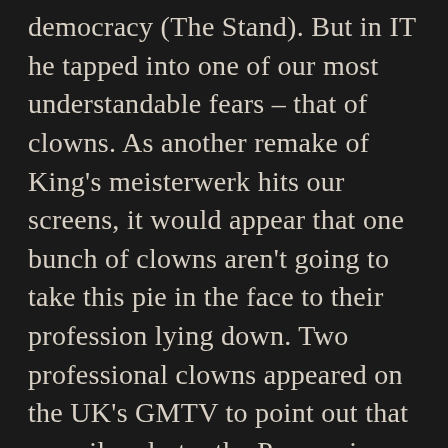democracy (The Stand). But in IT he tapped into one of our most understandable fears – that of clowns. As another remake of King's meisterwerk hits our screens, it would appear that one bunch of clowns aren't going to take this pie in the face to their profession lying down. Two professional clowns appeared on the UK's GMTV to point out that – spoiler alert – the Pennywise character from IT is only one of the many physical manifestations of the being, before going on to say the film was cheap, a low blow, even coming from a pair of men wearing clownpants and facepaint on live TV.